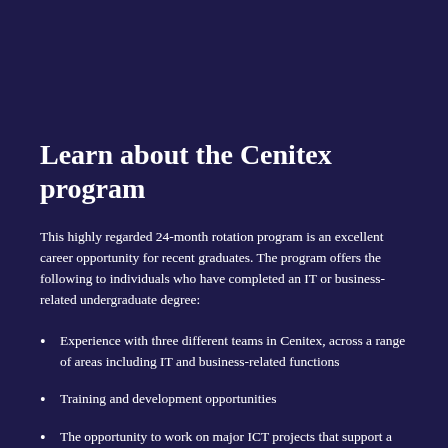Learn about the Cenitex program
This highly regarded 24-month rotation program is an excellent career opportunity for recent graduates. The program offers the following to individuals who have completed an IT or business-related undergraduate degree:
Experience with three different teams in Cenitex, across a range of areas including IT and business-related functions
Training and development opportunities
The opportunity to work on major ICT projects that support a digital Victorian Government